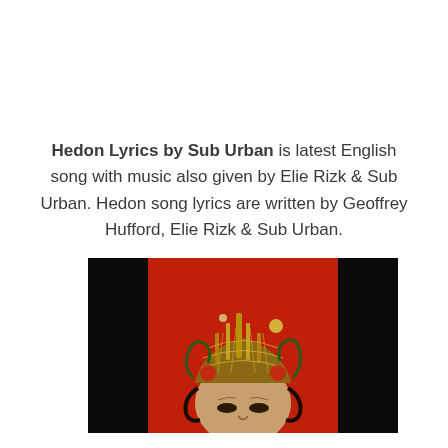Hedon Lyrics by Sub Urban is latest English song with music also given by Elie Rizk & Sub Urban. Hedon song lyrics are written by Geoffrey Hufford, Elie Rizk & Sub Urban.
[Figure (illustration): Album art for Hedon by Sub Urban: a surrealist painting of a face with elaborate architectural crown-like structure on the head against a red background, flanked by black bars on left and right.]